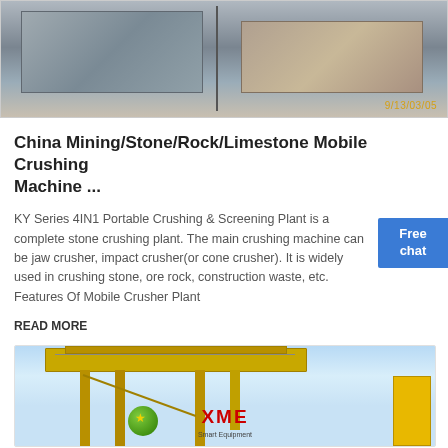[Figure (photo): Close-up photo of gray metal crushing machine parts with timestamp 9/13/03/05 in bottom right corner]
China Mining/Stone/Rock/Limestone Mobile Crushing Machine ...
KY Series 4IN1 Portable Crushing & Screening Plant is a complete stone crushing plant. The main crushing machine can be jaw crusher, impact crusher(or cone crusher). It is widely used in crushing stone, ore rock, construction waste, etc. Features Of Mobile Crusher Plant
READ MORE
[Figure (photo): Photo of a large yellow industrial mobile crushing and screening machine with XME branding, crane-like structure against blue sky, with green sphere and yellow shipping container visible]